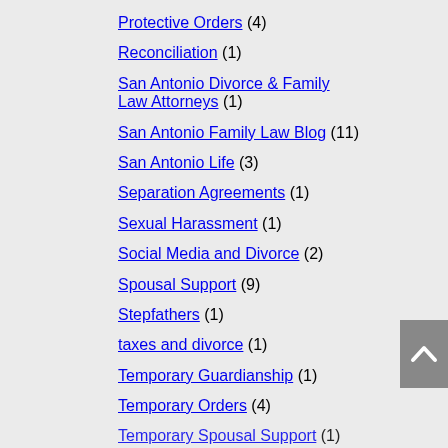Protective Orders (4)
Reconciliation (1)
San Antonio Divorce & Family Law Attorneys (1)
San Antonio Family Law Blog (11)
San Antonio Life (3)
Separation Agreements (1)
Sexual Harassment (1)
Social Media and Divorce (2)
Spousal Support (9)
Stepfathers (1)
taxes and divorce (1)
Temporary Guardianship (1)
Temporary Orders (4)
Temporary Spousal Support (1)